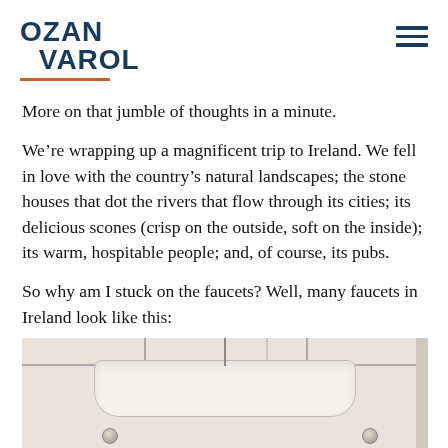OZAN VAROL
More on that jumble of thoughts in a minute.
We’re wrapping up a magnificent trip to Ireland. We fell in love with the country’s natural landscapes; the stone houses that dot the rivers that flow through its cities; its delicious scones (crisp on the outside, soft on the inside); its warm, hospitable people; and, of course, its pubs.
So why am I stuck on the faucets? Well, many faucets in Ireland look like this:
[Figure (photo): A bathroom sink with two separate faucet taps, set against white tiled wall background. The photo is cropped showing mostly the basin and the tile backdrop.]